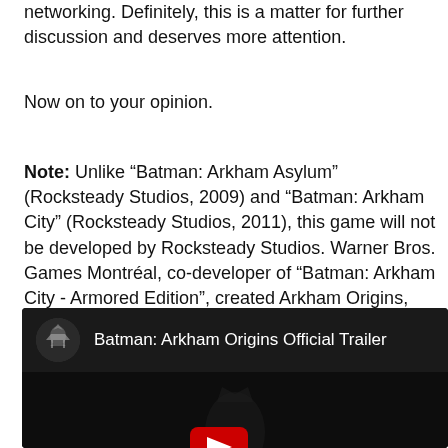networking. Definitely, this is a matter for further discussion and deserves more attention.
Now on to your opinion.
Note: Unlike “Batman: Arkham Asylum” (Rocksteady Studios, 2009) and “Batman: Arkham City” (Rocksteady Studios, 2011), this game will not be developed by Rocksteady Studios. Warner Bros. Games Montréal, co-developer of “Batman: Arkham City - Armored Edition”, created Arkham Origins, with additional development by Splash Damage for the game’s multiplayer feature. Check the trailer below:
[Figure (screenshot): YouTube video embed showing 'Batman: Arkham Origins Official Trailer' with a dark background featuring a silhouette of Batman and a YouTube play button.]